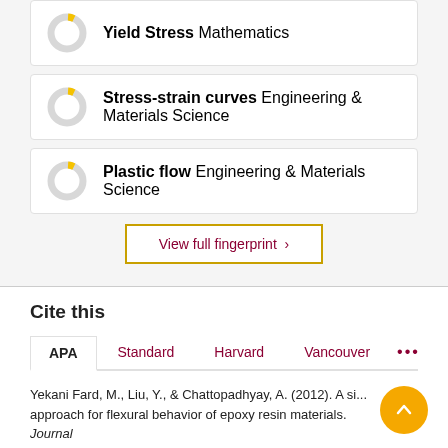[Figure (donut-chart): Small donut chart with yellow segment, majority grey, for Yield Stress / Mathematics keyword]
Yield Stress
Mathematics
[Figure (donut-chart): Small donut chart with yellow segment, majority grey, for Stress-strain curves / Engineering & Materials Science keyword]
Stress-strain curves
Engineering & Materials Science
[Figure (donut-chart): Small donut chart with yellow segment, majority grey, for Plastic flow / Engineering & Materials Science keyword]
Plastic flow
Engineering & Materials Science
View full fingerprint ›
Cite this
APA
Standard
Harvard
Vancouver
•••
Yekani Fard, M., Liu, Y., & Chattopadhyay, A. (2012). A si... approach for flexural behavior of epoxy resin materials. Journal of Strain Analysis for Engineering Design, 47(1), 18–31.